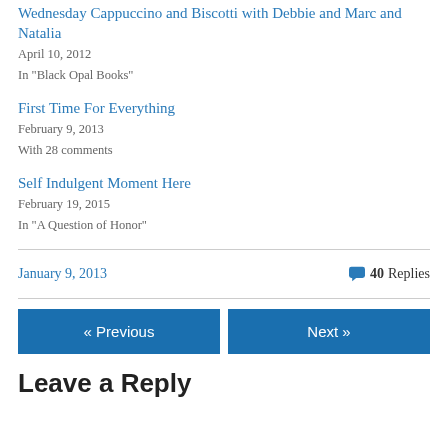Wednesday Cappuccino and Biscotti with Debbie and Marc and Natalia
April 10, 2012
In "Black Opal Books"
First Time For Everything
February 9, 2013
With 28 comments
Self Indulgent Moment Here
February 19, 2015
In "A Question of Honor"
January 9, 2013    40 Replies
« Previous    Next »
Leave a Reply